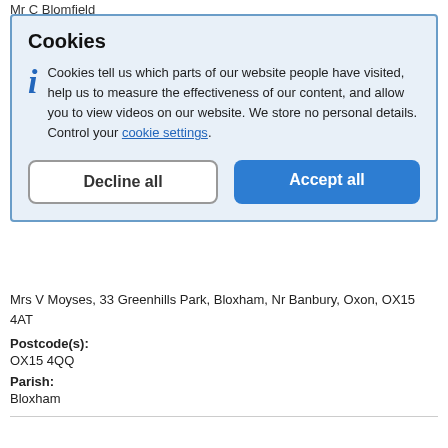Mr C Blomfield
[Figure (screenshot): Cookie consent overlay dialog with title 'Cookies', informational text, info icon, 'Decline all' and 'Accept all' buttons, displayed over a blurred/dimmed government planning website page background.]
Mrs V Moyses, 33 Greenhills Park, Bloxham, Nr Banbury, Oxon, OX15 4AT
Postcode(s):
OX15 4QQ
Parish:
Bloxham